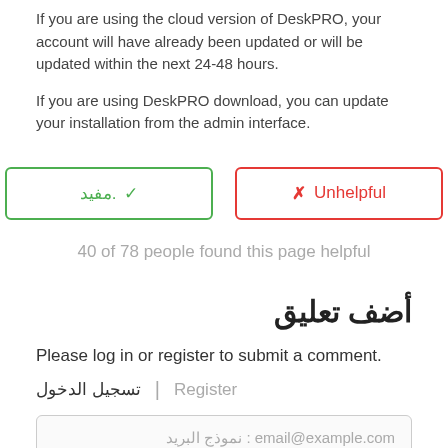If you are using the cloud version of DeskPRO, your account will have already been updated or will be updated within the next 24-48 hours.
If you are using DeskPRO download, you can update your installation from the admin interface.
[Figure (other): Two feedback buttons: a green 'مفيد.' (Helpful) button with a checkmark, and a red 'Unhelpful' button with an X]
40 of 78 people found this page helpful
أضف تعليق
Please log in or register to submit a comment.
تسجيل الدخول | Register
email@example.com : نموذج البريد